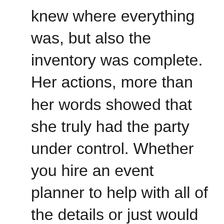knew where everything was, but also the inventory was complete. Her actions, more than her words showed that she truly had the party under control. Whether you hire an event planner to help with all of the details or just would like help with the day events, make sure you ask these very important questions: 1) do you attend meetings with some of my vendors